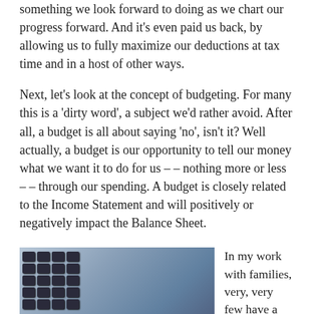something we look forward to doing as we chart our progress forward. And it's even paid us back, by allowing us to fully maximize our deductions at tax time and in a host of other ways.
Next, let's look at the concept of budgeting. For many this is a 'dirty word', a subject we'd rather avoid. After all, a budget is all about saying 'no', isn't it? Well actually, a budget is our opportunity to tell our money what we want it to do for us – – nothing more or less – – through our spending. A budget is closely related to the Income Statement and will positively or negatively impact the Balance Sheet.
[Figure (photo): A photo of a calculator with spreadsheet papers and glasses resting on top, in blue-grey tones]
In my work with families, very, very few have a written budget. Most say that they